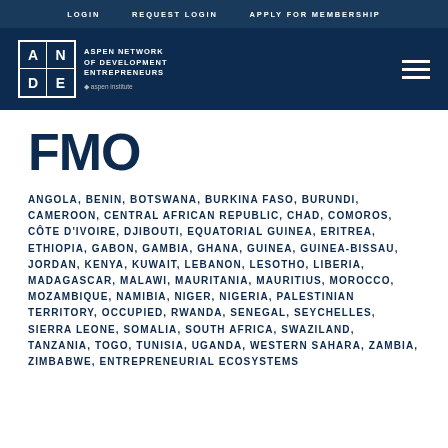LOGIN  REQUEST LOGIN  APPLY FOR MEMBERSHIP
[Figure (logo): ANDE - Aspen Network of Development Entrepreneurs logo with Aspen Institute mark]
FMO
ANGOLA, BENIN, BOTSWANA, BURKINA FASO, BURUNDI, CAMEROON, CENTRAL AFRICAN REPUBLIC, CHAD, COMOROS, CÔTE D'IVOIRE, DJIBOUTI, EQUATORIAL GUINEA, ERITREA, ETHIOPIA, GABON, GAMBIA, GHANA, GUINEA, GUINEA-BISSAU, JORDAN, KENYA, KUWAIT, LEBANON, LESOTHO, LIBERIA, MADAGASCAR, MALAWI, MAURITANIA, MAURITIUS, MOROCCO, MOZAMBIQUE, NAMIBIA, NIGER, NIGERIA, PALESTINIAN TERRITORY, OCCUPIED, RWANDA, SENEGAL, SEYCHELLES, SIERRA LEONE, SOMALIA, SOUTH AFRICA, SWAZILAND, TANZANIA, TOGO, TUNISIA, UGANDA, WESTERN SAHARA, ZAMBIA, ZIMBABWE, ENTREPRENEURIAL ECOSYSTEMS